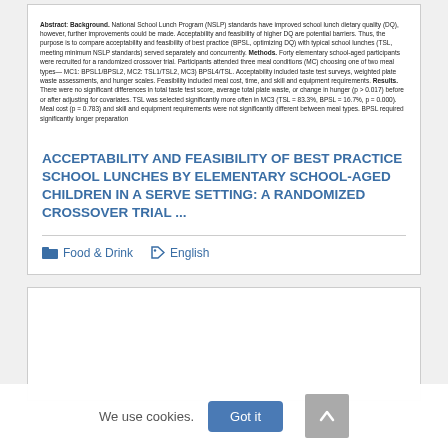Abstract: Background. National School Lunch Program (NSLP) standards have improved school lunch dietary quality (DQ), however, further improvements could be made. Acceptability and feasibility of higher DQ are potential barriers. Thus, the purpose is to compare acceptability and feasibility of best practice (BPSL, optimizing DQ) with typical school lunches (TSL, meeting minimum NSLP standards) served separately and concurrently. Methods. Forty elementary school-aged participants were recruited for a randomized crossover trial. Participants attended three meal conditions (MC) choosing one of two meal types— MC1: BPSL1/BPSL2, MC2: TSL1/TSL2, MC3 BPSL4/TSL. Acceptability included taste test surveys, weighted plate waste assessments, and hunger scales. Feasibility included meal cost, time, and skill and equipment requirements. Results. There were no significant differences in total taste test score, average total plate waste, or change in hunger (p > 0.017) before or after adjusting for covariates. TSL was selected significantly more often in MC3 (TSL = 83.3%, BPSL = 16.7%, p = 0.000). Meal cost (p = 0.783) and skill and equipment requirements were not significantly different between meal types. BPSL required significantly longer preparation
ACCEPTABILITY AND FEASIBILITY OF BEST PRACTICE SCHOOL LUNCHES BY ELEMENTARY SCHOOL-AGED CHILDREN IN A SERVE SETTING: A RANDOMIZED CROSSOVER TRIAL ...
Food & Drink   English